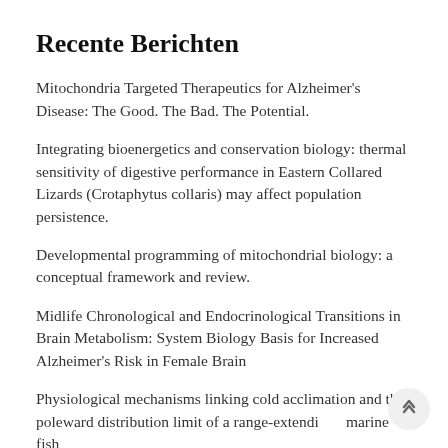Recente Berichten
Mitochondria Targeted Therapeutics for Alzheimer's Disease: The Good. The Bad. The Potential.
Integrating bioenergetics and conservation biology: thermal sensitivity of digestive performance in Eastern Collared Lizards (Crotaphytus collaris) may affect population persistence.
Developmental programming of mitochondrial biology: a conceptual framework and review.
Midlife Chronological and Endocrinological Transitions in Brain Metabolism: System Biology Basis for Increased Alzheimer's Risk in Female Brain
Physiological mechanisms linking cold acclimation and the poleward distribution limit of a range-extendi marine fish